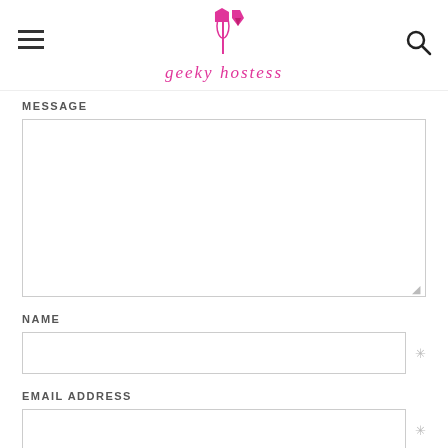geeky hostess
MESSAGE
[message textarea]
NAME
[name input field]
EMAIL ADDRESS
[email address input field]